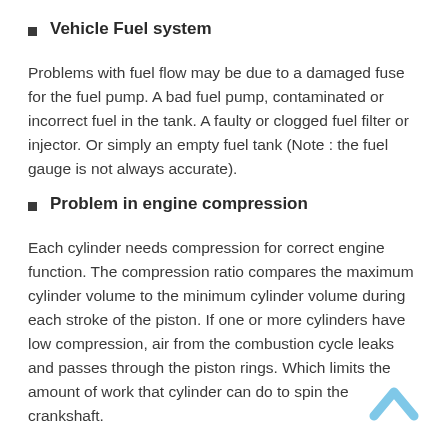Vehicle Fuel system
Problems with fuel flow may be due to a damaged fuse for the fuel pump. A bad fuel pump, contaminated or incorrect fuel in the tank. A faulty or clogged fuel filter or injector. Or simply an empty fuel tank (Note : the fuel gauge is not always accurate).
Problem in engine compression
Each cylinder needs compression for correct engine function. The compression ratio compares the maximum cylinder volume to the minimum cylinder volume during each stroke of the piston. If one or more cylinders have low compression, air from the combustion cycle leaks and passes through the piston rings. Which limits the amount of work that cylinder can do to spin the crankshaft.